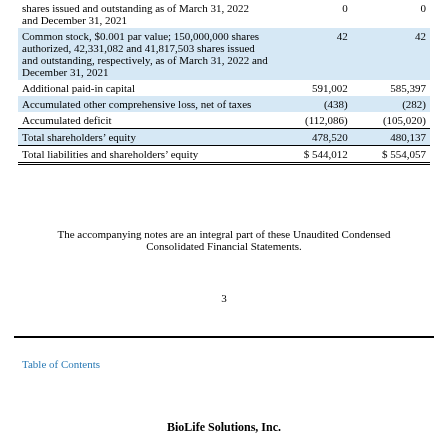| Description | Col1 | Col2 |
| --- | --- | --- |
| shares issued and outstanding as of March 31, 2022 and December 31, 2021 | 0 | 0 |
| Common stock, $0.001 par value; 150,000,000 shares authorized, 42,331,082 and 41,817,503 shares issued and outstanding, respectively, as of March 31, 2022 and December 31, 2021 | 42 | 42 |
| Additional paid-in capital | 591,002 | 585,397 |
| Accumulated other comprehensive loss, net of taxes | (438) | (282) |
| Accumulated deficit | (112,086) | (105,020) |
| Total shareholders' equity | 478,520 | 480,137 |
| Total liabilities and shareholders' equity | $ 544,012 | $ 554,057 |
The accompanying notes are an integral part of these Unaudited Condensed Consolidated Financial Statements.
3
Table of Contents
BioLife Solutions, Inc.